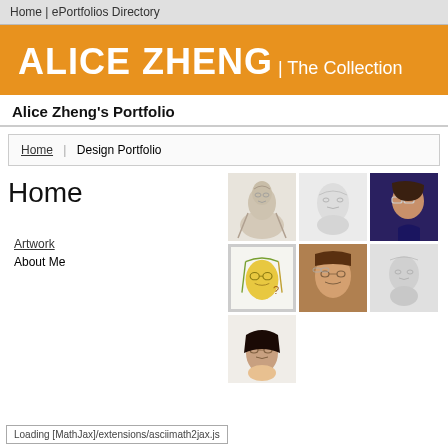Home | ePortfolios Directory
ALICE ZHENG | The Collection
Alice Zheng's Portfolio
Home | Design Portfolio
Home
Artwork
About Me
[Figure (photo): Grid of portrait artworks/sketches by Alice Zheng — 7 thumbnail images showing pencil sketches, colored drawings, and painted portraits of faces]
Loading [MathJax]/extensions/asciimath2jax.js